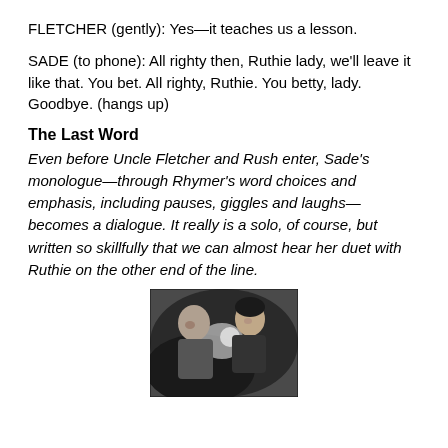FLETCHER (gently): Yes—it teaches us a lesson.
SADE (to phone): All righty then, Ruthie lady, we'll leave it like that. You bet. All righty, Ruthie. You betty, lady. Goodbye. (hangs up)
The Last Word
Even before Uncle Fletcher and Rush enter, Sade's monologue—through Rhymer's word choices and emphasis, including pauses, giggles and laughs—becomes a dialogue. It really is a solo, of course, but written so skillfully that we can almost hear her duet with Ruthie on the other end of the line.
[Figure (photo): Black and white photograph of a man and woman, appearing to look at something together, possibly a script or document.]